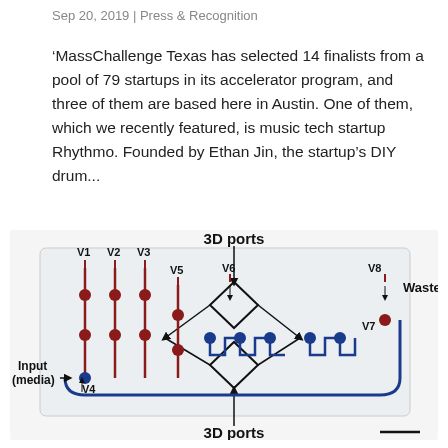Sep 20, 2019 | Press & Recognition
'MassChallenge Texas has selected 14 finalists from a pool of 79 startups in its accelerator program, and three of them are based here in Austin. One of them, which we recently featured, is music tech startup Rhythmo. Founded by Ethan Jin, the startup's DIY drum...
[Figure (engineering-diagram): Photo of a transparent microfluidic chip (rectangular block) with labeled valves V1–V8, red and blue fluid channels, 3D ports at top and bottom, Input (media) label on the left, Waste label on the right, and a scale bar at the bottom right.]